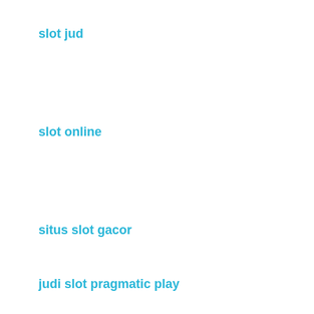slot jud
slot online
situs slot gacor
judi slot pragmatic play